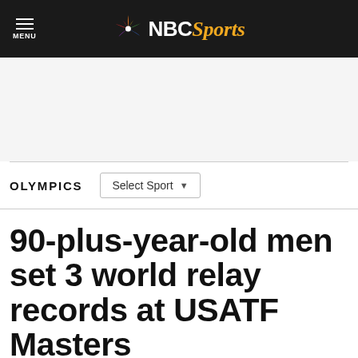NBC Sports
OLYMPICS
90-plus-year-old men set 3 world relay records at USATF Masters
By Nick Zaccardi   Jul 21, 2014, 10:43 AM EDT